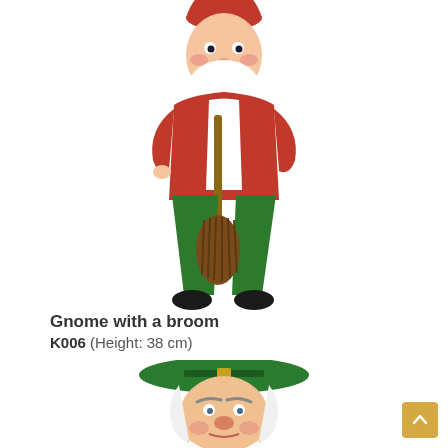[Figure (photo): Garden gnome figurine wearing a red hat and red jacket, holding a brown broom, with green pants and black shoes. Ceramic/plastic decorative garden ornament.]
Gnome with a broom
K006 (Height: 38 cm)
[Figure (photo): Head and upper torso of a garden gnome figurine wearing a green wide-brimmed hat, with white beard and rosy cheeks.]